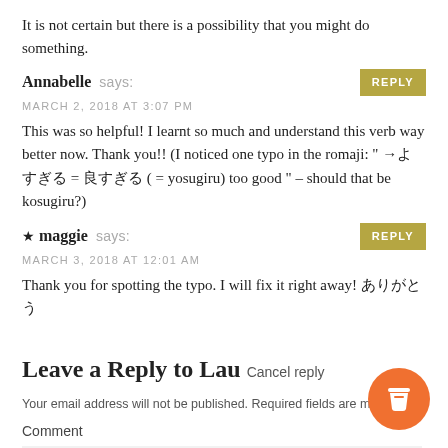It is not certain but there is a possibility that you might do something.
Annabelle says:
MARCH 2, 2018 AT 3:07 PM
This was so helpful! I learnt so much and understand this verb way better now. Thank you!! (I noticed one typo in the romaji: " → よすぎる = 良すぎる ( = yosugiru) too good " – should that be kosugiru?)
maggie says:
MARCH 3, 2018 AT 12:01 AM
Thank you for spotting the typo. I will fix it right away! ありがとう
Leave a Reply to Lau Cancel reply
Your email address will not be published. Required fields are marked *
Comment